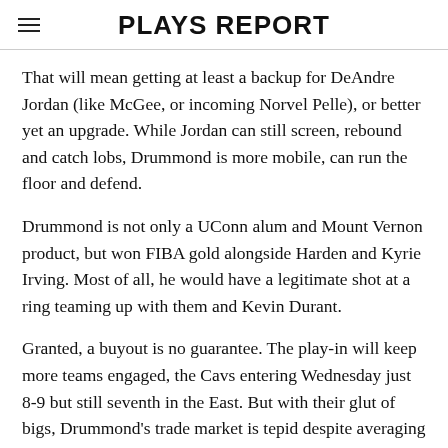PLAYS REPORT
That will mean getting at least a backup for DeAndre Jordan (like McGee, or incoming Norvel Pelle), or better yet an upgrade. While Jordan can still screen, rebound and catch lobs, Drummond is more mobile, can run the floor and defend.
Drummond is not only a UConn alum and Mount Vernon product, but won FIBA gold alongside Harden and Kyrie Irving. Most of all, he would have a legitimate shot at a ring teaming up with them and Kevin Durant.
Granted, a buyout is no guarantee. The play-in will keep more teams engaged, the Cavs entering Wednesday just 8-9 but still seventh in the East. But with their glut of bigs, Drummond's trade market is tepid despite averaging 18.7 points, 14.6 boards — second in the NBA — and 1.1 blocks.